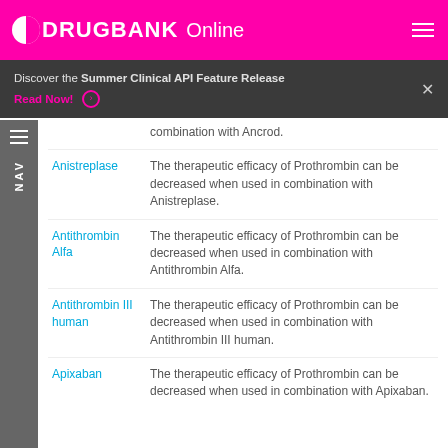DRUGBANK Online
Discover the Summer Clinical API Feature Release
Read Now!
| Drug | Interaction |
| --- | --- |
|  | combination with Ancrod. |
| Anistreplase | The therapeutic efficacy of Prothrombin can be decreased when used in combination with Anistreplase. |
| Antithrombin Alfa | The therapeutic efficacy of Prothrombin can be decreased when used in combination with Antithrombin Alfa. |
| Antithrombin III human | The therapeutic efficacy of Prothrombin can be decreased when used in combination with Antithrombin III human. |
| Apixaban | The therapeutic efficacy of Prothrombin can be decreased when used in combination with Apixaban. |